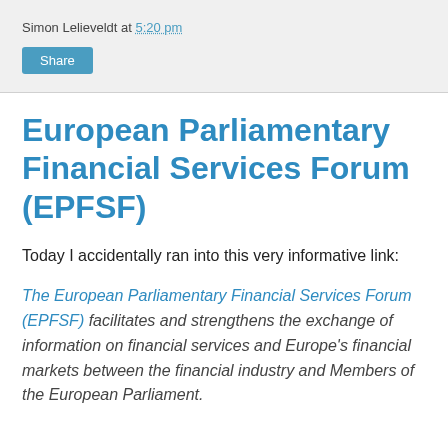Simon Lelieveldt at 5:20 pm
Share
European Parliamentary Financial Services Forum (EPFSF)
Today I accidentally ran into this very informative link:
The European Parliamentary Financial Services Forum (EPFSF) facilitates and strengthens the exchange of information on financial services and Europe's financial markets between the financial industry and Members of the European Parliament.